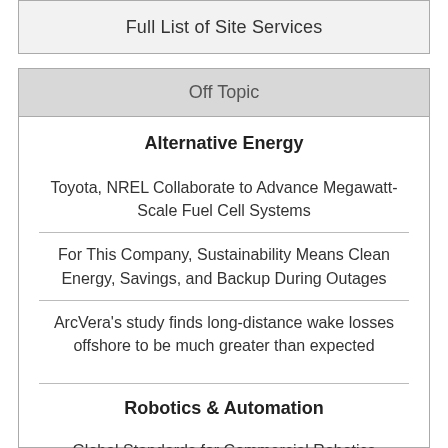Full List of Site Services
Off Topic
Alternative Energy
Toyota, NREL Collaborate to Advance Megawatt-Scale Fuel Cell Systems
For This Company, Sustainability Means Clean Energy, Savings, and Backup During Outages
ArcVera's study finds long-distance wake losses offshore to be much greater than expected
Robotics & Automation
Global Standards for Commercial Robotics